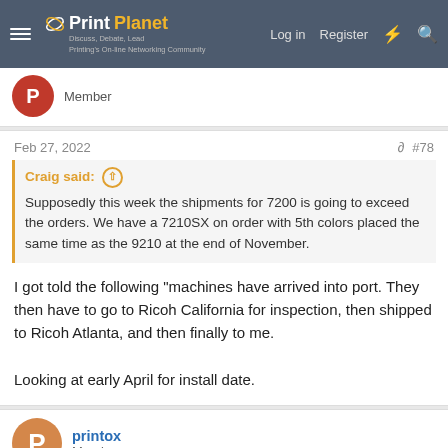PrintPlanet — Discuss, Debate, Lead — Printing's On-line Networking Community | Log in | Register
Member
Feb 27, 2022  #78
Craig said: ↑
Supposedly this week the shipments for 7200 is going to exceed the orders. We have a 7210SX on order with 5th colors placed the same time as the 9210 at the end of November.
I got told the following "machines have arrived into port. They then have to go to Ricoh California for inspection, then shipped to Ricoh Atlanta, and then finally to me.

Looking at early April for install date.
printox
Member